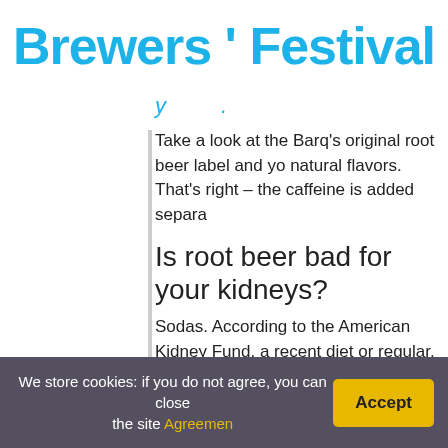Brewers ' Festival
Take a look at the Barq's original root beer label and yo natural flavors. That's right – the caffeine is added separa
Is root beer bad for your kidneys?
Sodas. According to the American Kidney Fund, a recent diet or regular, each day may increase your risk for chr been linked to the formation of kidney stones.
You might be interested: Often asked: Wh
Why did McDonald's stop selling root bee
For a brief period of time in the 80s, McDonald
We store cookies: if you do not agree, you can close the site Agreemen